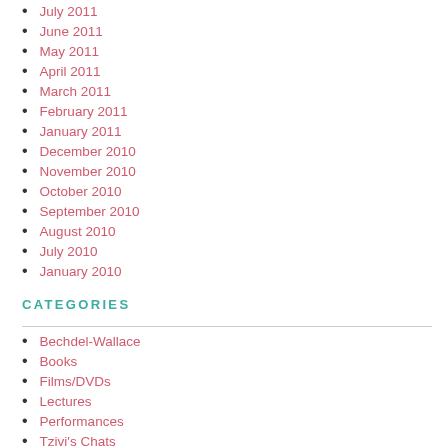July 2011
June 2011
May 2011
April 2011
March 2011
February 2011
January 2011
December 2010
November 2010
October 2010
September 2010
August 2010
July 2010
January 2010
CATEGORIES
Bechdel-Wallace
Books
Films/DVDs
Lectures
Performances
Tzivi's Chats